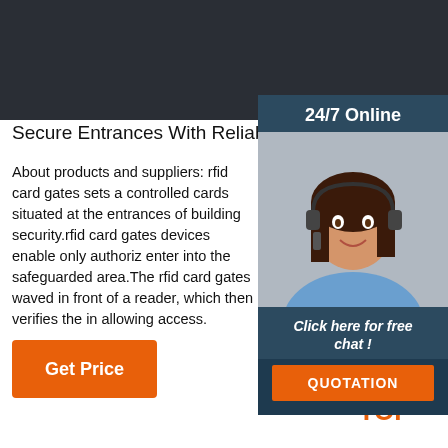[Figure (photo): Dark textured background banner at top of page]
[Figure (photo): Sidebar with 24/7 Online label, photo of woman with headset, Click here for free chat text, and QUOTATION button]
Secure Entrances With Reliable Rfid Card Gates - A
About products and suppliers: rfid card gates sets a controlled cards situated at the entrances of building security.rfid card gates devices enable only authoriz enter into the safeguarded area.The rfid card gates waved in front of a reader, which then verifies the in allowing access.
[Figure (other): Orange Get Price button]
[Figure (logo): TOP logo with orange dots arranged in triangle above the word TOP in orange]